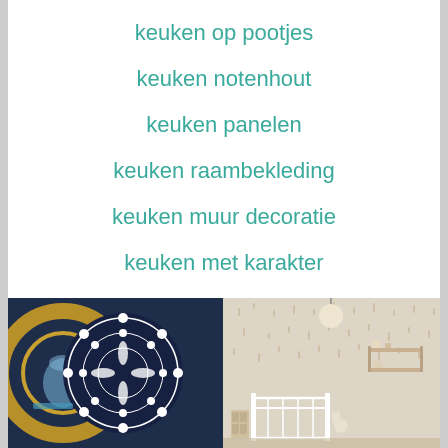keuken op pootjes
keuken notenhout
keuken panelen
keuken raambekleding
keuken muur decoratie
keuken met karakter
keuken radiator
[Figure (photo): Two photos side by side: left shows a gold circular tray and dark navy mandala textile pattern; right shows a nursery room with white crib and dot-patterned wall]
[Figure (photo): Nursery room with white crib, shelves with items, and light-colored walls with small painted marks/dots]